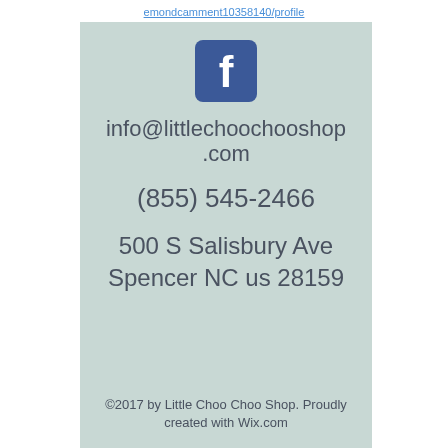emondcamment10358140/profile
[Figure (logo): Facebook logo — blue rounded square with white lowercase 'f']
info@littlechoochooshop.com
(855) 545-2466
500 S Salisbury Ave Spencer NC us 28159
©2017 by Little Choo Choo Shop. Proudly created with Wix.com